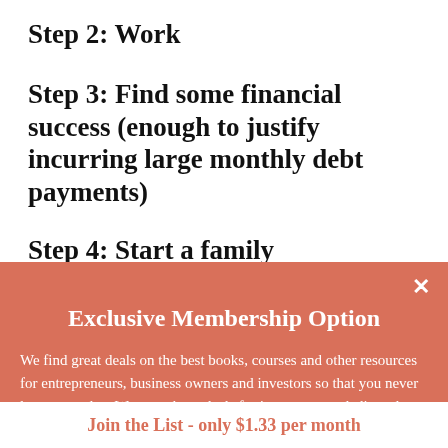Step 2:  Work
Step 3:  Find some financial success (enough to justify incurring large monthly debt payments)
Step 4:  Start a family
Exclusive Membership Option
We find great deals on the best books, courses and other resources for entrepreneurs, business owners and investors so that you never lose your edge. We save those deals for just our most dedicated readers.
Join the List - only $1.33 per month